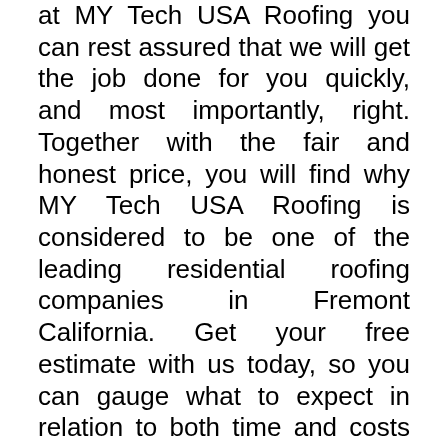at MY Tech USA Roofing you can rest assured that we will get the job done for you quickly, and most importantly, right. Together with the fair and honest price, you will find why MY Tech USA Roofing is considered to be one of the leading residential roofing companies in Fremont California. Get your free estimate with us today, so you can gauge what to expect in relation to both time and costs of repairing your leaking residential roof. Repairing roof leaks in Fremont correctly is imperative to prevent future costly damages from occurring. Trust us to get the job done for you with impeccable quality. As one of the leading residential roofing contractors in Fremont you will find that we deliver quality for a reasonable price. Whether it is a new